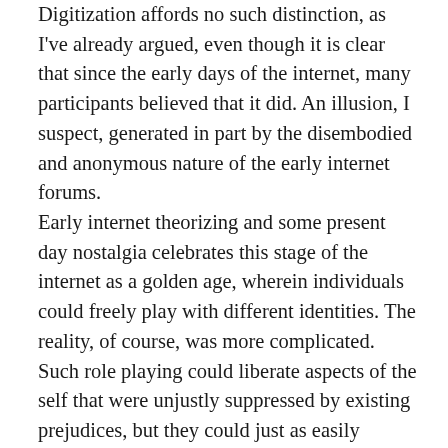Digitization affords no such distinction, as I've already argued, even though it is clear that since the early days of the internet, many participants believed that it did. An illusion, I suspect, generated in part by the disembodied and anonymous nature of the early internet forums.
Early internet theorizing and some present day nostalgia celebrates this stage of the internet as a golden age, wherein individuals could freely play with different identities. The reality, of course, was more complicated. Such role playing could liberate aspects of the self that were unjustly suppressed by existing prejudices, but they could just as easily liberate aspects of the self that were justly suppressed by legitimate and salutary moral and ethical standards. Getting to role play white supremacy, for example, can hardly be